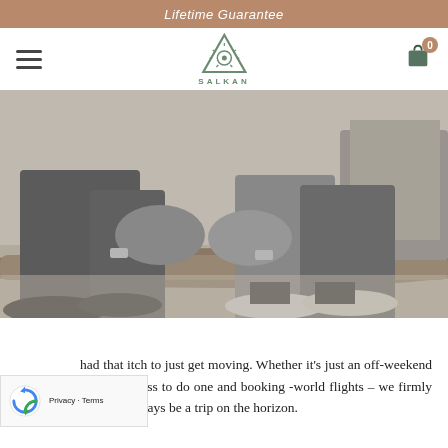Lifetime Guarantee
[Figure (logo): SALKAN brand logo: triangle with sun/rays inside, text SALKAN below, in green/teal color]
[Figure (photo): Black and white photo of two people (legs visible) sitting on a log in an outdoor sandy/rocky area, wearing sneakers]
had that itch to just get moving. Whether it's just an off-weekend away, or telling your boss to do one and booking -world flights – we firmly believe there should always be a trip on the horizon.